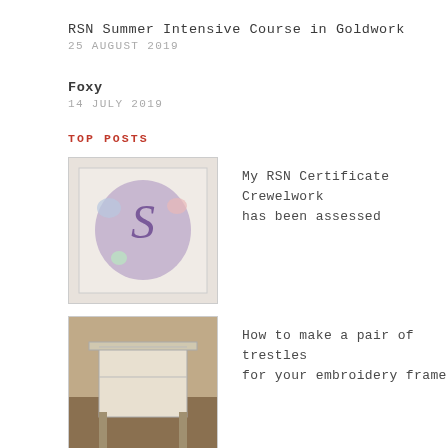RSN Summer Intensive Course in Goldwork
25 AUGUST 2019
Foxy
14 JULY 2019
TOP POSTS
[Figure (photo): Embroidered letter S on white fabric with floral design]
My RSN Certificate Crewelwork has been assessed
[Figure (photo): Wooden trestle stand for embroidery frame]
How to make a pair of trestles for your embroidery frame
[Figure (photo): Embroidery hoop with fox design on fabric]
Foxy